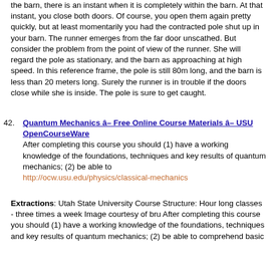the barn, there is an instant when it is completely within the barn. At that instant, you close both doors. Of course, you open them again pretty quickly, but at least momentarily you had the contracted pole shut up in your barn. The runner emerges from the far door unscathed. But consider the problem from the point of view of the runner. She will regard the pole as stationary, and the barn as approaching at high speed. In this reference frame, the pole is still 80m long, and the barn is less than 20 meters long. Surely the runner is in trouble if the doors close while she is inside. The pole is sure to get caught.
42. Quantum Mechanics â Free Online Course Materials â USU OpenCourseWare
After completing this course you should (1) have a working knowledge of the foundations, techniques and key results of quantum mechanics; (2) be able to
http://ocw.usu.edu/physics/classical-mechanics
Extractions: Utah State University Course Structure: Hour long classes - three times a week Image courtesy of bru After completing this course you should (1) have a working knowledge of the foundations, techniques and key results of quantum mechanics; (2) be able to comprehend basic